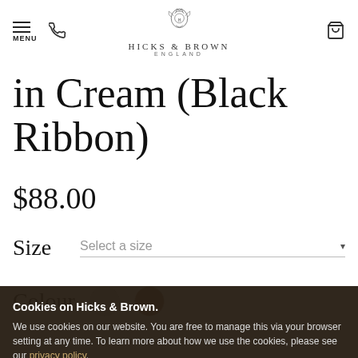[Figure (logo): Hicks & Brown England logo with decorative crest and brand name]
in Cream (Black Ribbon)
$88.00
Size   Select a size
Colour
Cookies on Hicks & Brown.
We use cookies on our website. You are free to manage this via your browser setting at any time. To learn more about how we use the cookies, please see our privacy policy.
ADD TO BASKET
Close and don't show me again.